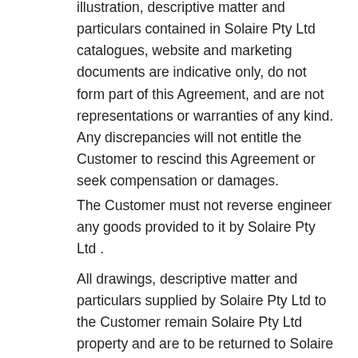illustration, descriptive matter and particulars contained in Solaire Pty Ltd catalogues, website and marketing documents are indicative only, do not form part of this Agreement, and are not representations or warranties of any kind. Any discrepancies will not entitle the Customer to rescind this Agreement or seek compensation or damages.
The Customer must not reverse engineer any goods provided to it by Solaire Pty Ltd .
All drawings, descriptive matter and particulars supplied by Solaire Pty Ltd to the Customer remain Solaire Pty Ltd property and are to be returned to Solaire Pty Ltd on demand and the Customer shall not publish or communicate any of them to any person or publish or permit them to be copied or communicate them to any other